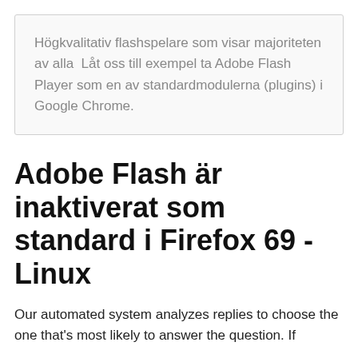Högkvalitativ flashspelare som visar majoriteten av alla  Låt oss till exempel ta Adobe Flash Player som en av standardmodulerna (plugins) i Google Chrome.
Adobe Flash är inaktiverat som standard i Firefox 69 - Linux
Our automated system analyzes replies to choose the one that's most likely to answer the question. If